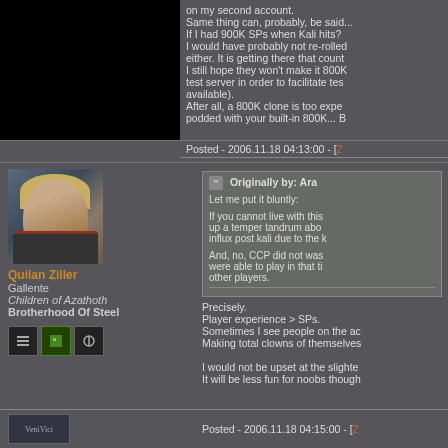on my second account. Same thing can, probably, be said... If I had 900K SPs when Kali hits? I would have probably not re-rolled either. It is getting there that counts. I still hope they won't make it 800K test server in order to facilitate tes available). After all, a 800K clone is too expe podded with your built-in 800K... B
Posted - 2006.11.18 04:13:00 - [2
[Figure (photo): Avatar portrait of Quilan Ziller - a blonde male character portrait from an online game]
Quilan Ziller
Gallente
Children of Azathoth
Brotherhood Of Steel
[Figure (screenshot): Three small icon buttons: list/grid icon, green square icon, tool/wrench icon]
Originally by: Ara
Let me put it bluntly:
If you cannot live with this up a temper tandrum abo influx post kali due to the k
And, no, CCP did not was were able to play in that ti other players.
Precisely.
Player experience > SPs.
Sometimes I see people on the ac Making total clowns of themselves
I would not be upset at the slighte It will be less fun for noobs though
Posted - 2006.11.18 04:15:00 - [2
[Figure (screenshot): VeniVici text/image label at bottom left]